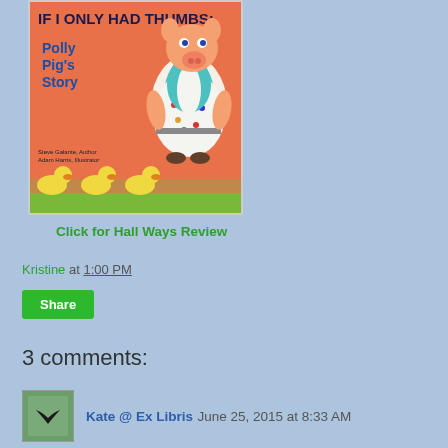[Figure (illustration): Book cover for 'If I Only Had Thumbs: Polly Pig's Story' with orange background, cartoon pig in polka dot dress with teal vest, yellow ducks along bottom, green grass strip.]
Click for Hall Ways Review
Kristine at 1:00 PM
Share
3 comments:
Kate @ Ex Libris June 25, 2015 at 8:33 AM